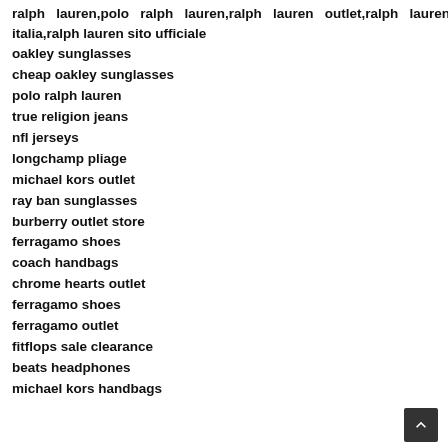ralph lauren,polo ralph lauren,ralph lauren outlet,ralph lauren italia,ralph lauren sito ufficiale
oakley sunglasses
cheap oakley sunglasses
polo ralph lauren
true religion jeans
nfl jerseys
longchamp pliage
michael kors outlet
ray ban sunglasses
burberry outlet store
ferragamo shoes
coach handbags
chrome hearts outlet
ferragamo shoes
ferragamo outlet
fitflops sale clearance
beats headphones
michael kors handbags